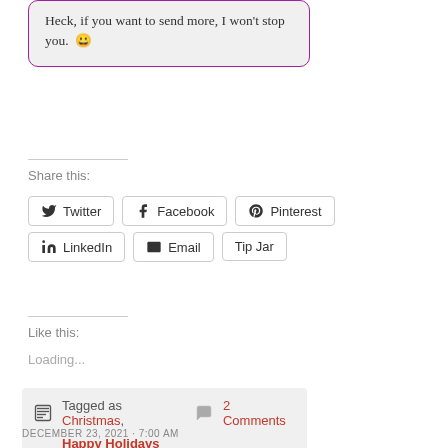Heck, if you want to send more, I won't stop you. 😀
Share this:
Twitter
Facebook
Pinterest
LinkedIn
Email
Tip Jar
Like this:
Loading...
Tagged as Christmas, Happy Holidays   2 Comments
DECEMBER 23, 2021 · 7:00 AM